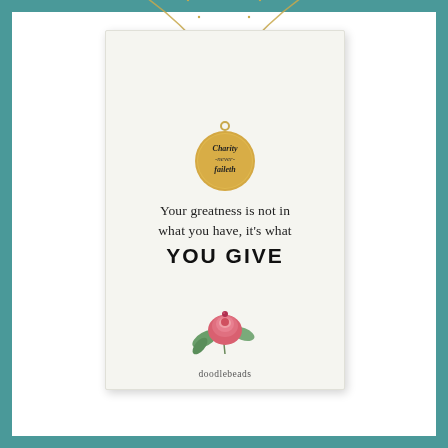[Figure (photo): Product photo of a gold necklace with a round coin pendant engraved with 'Charity never faileth', displayed on a white gift card that reads 'Your greatness is not in what you have, it's what YOU GIVE' with a watercolor rose illustration and 'doodlebeads' brand name]